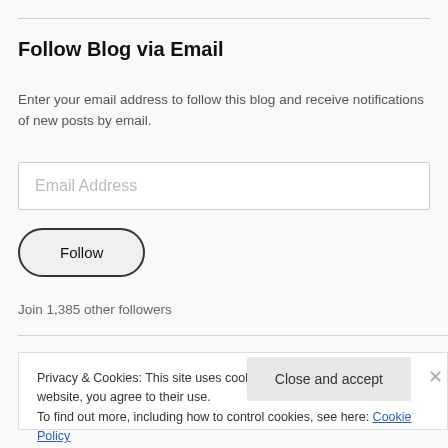Follow Blog via Email
Enter your email address to follow this blog and receive notifications of new posts by email.
[Figure (screenshot): Email Address input field (text box with placeholder 'Email Address')]
[Figure (screenshot): Follow button — oval/pill shaped button with label 'Follow']
Join 1,385 other followers
Privacy & Cookies: This site uses cookies. By continuing to use this website, you agree to their use. To find out more, including how to control cookies, see here: Cookie Policy
Close and accept